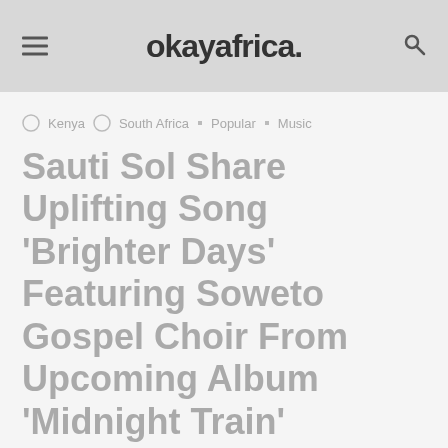okayafrica.
Kenya · South Africa · Popular · Music
Sauti Sol Share Uplifting Song ‘Brighter Days’ Featuring Soweto Gospel Choir From Upcoming Album ‘Midnight Train’
by Sabelo Mkhabela
[Figure (photo): Photo of Sauti Sol band members performing outdoors at sunset]